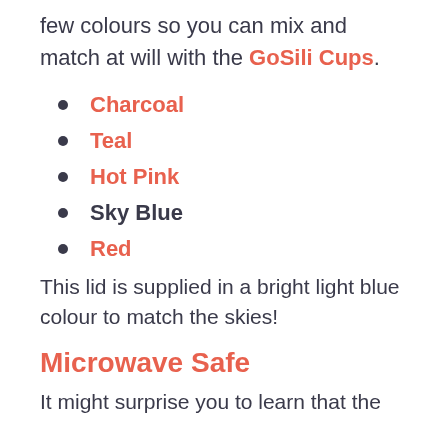few colours so you can mix and match at will with the GoSili Cups.
Charcoal
Teal
Hot Pink
Sky Blue
Red
This lid is supplied in a bright light blue colour to match the skies!
Microwave Safe
It might surprise you to learn that the